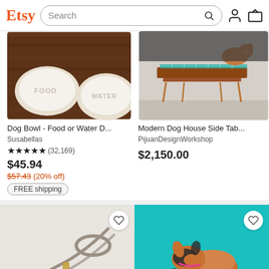Etsy — Search bar with search icon, user icon, and cart icon
[Figure (photo): Two ceramic dog bowls labeled FOOD and WATER on a dark wood floor]
Dog Bowl - Food or Water D...
Susabellas
★★★★★ (32,169)
$45.94
$57.43 (20% off)
FREE shipping
[Figure (photo): Modern dog house side table in copper/wood on a rug with a small dog]
Modern Dog House Side Tab...
PijuanDesignWorkshop
$2,150.00
[Figure (photo): Grey leather dog leash and collar on a light background]
[Figure (photo): Corgi dog eating from an elevated wooden dog bowl stand on a teal background]